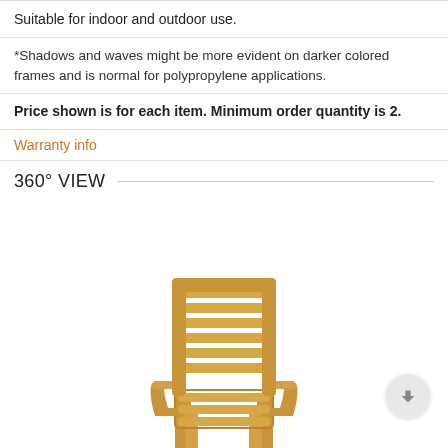Suitable for indoor and outdoor use.
*Shadows and waves might be more evident on darker colored frames and is normal for polypropylene applications.
Price shown is for each item. Minimum order quantity is 2.
Warranty info
360° VIEW
[Figure (photo): A tan/golden colored polypropylene stackable armchair with horizontal slatted back and seat, shown from the front against a white background. A small circular scroll button is visible at the right.]